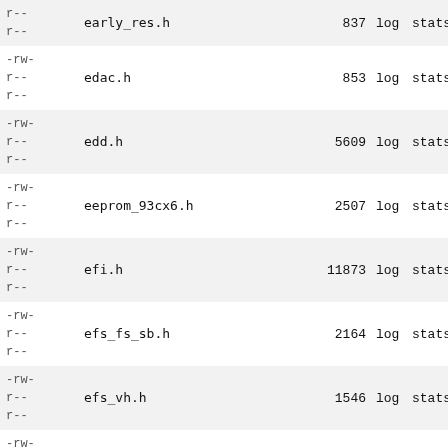| permissions | name | size | log | stats | plain |
| --- | --- | --- | --- | --- | --- |
| -rw-
r--
r-- | early_res.h | 837 | log | stats | plain |
| -rw-
r--
r-- | edac.h | 853 | log | stats | plain |
| -rw-
r--
r-- | edd.h | 5609 | log | stats | plain |
| -rw-
r--
r-- | eeprom_93cx6.h | 2507 | log | stats | plain |
| -rw-
r--
r-- | efi.h | 11873 | log | stats | plain |
| -rw-
r--
r-- | efs_fs_sb.h | 2164 | log | stats | plain |
| -rw-
r--
r-- | efs_vh.h | 1546 | log | stats | plain |
| -rw-
r--
r-- | eisa.h | 2992 | log | stats | plain |
| -rw-
r--
r-- | elevator.h | 6901 | log | stats | plain |
| -rw-
r--
r-- | elf-em.h | 1834 | log | stats | plain |